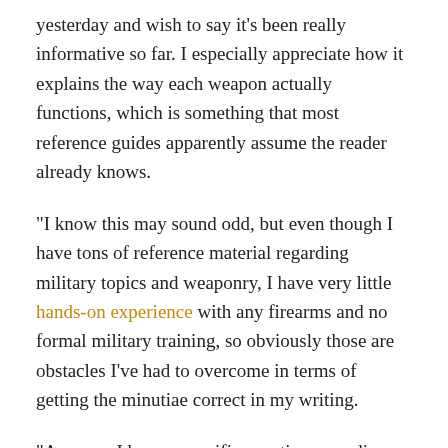yesterday and wish to say it's been really informative so far. I especially appreciate how it explains the way each weapon actually functions, which is something that most reference guides apparently assume the reader already knows.
“I know this may sound odd, but even though I have tons of reference material regarding military topics and weaponry, I have very little hands-on experience with any firearms and no formal military training, so obviously those are obstacles I’ve had to overcome in terms of getting the minutiae correct in my writing.
“Anyway, I have a specific question regarding a particular scene in my book; I want to make certain that it’s even feasible. It involves a boy who, along with his mother, is often violently abused by his stepfather who